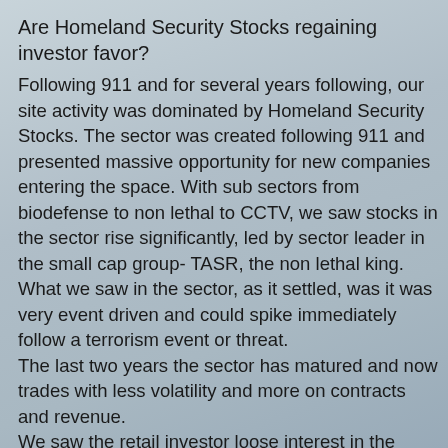Are Homeland Security Stocks regaining investor favor?
Following 911 and for several years following, our site activity was dominated by Homeland Security Stocks. The sector was created following 911 and presented massive opportunity for new companies entering the space. With sub sectors from biodefense to non lethal to CCTV, we saw stocks in the sector rise significantly, led by sector leader in the small cap group- TASR, the non lethal king.
What we saw in the sector, as it settled, was it was very event driven and could spike immediately follow a terrorism event or threat.
The last two years the sector has matured and now trades with less volatility and more on contracts and revenue.
We saw the retail investor loose interest in the space as energy and commodity stocks took the lead.
Our site rankings for Homeland Security stocks moved from number one ranking to anywhere from 10-25 on our list.
What is interesting is a recent undercurrent of interest that is moving the Homelanddefensestocks.com (HDS) portal up our internal rankings and is now at number 5.
What does this mean? Maybe the cycle is changing and the